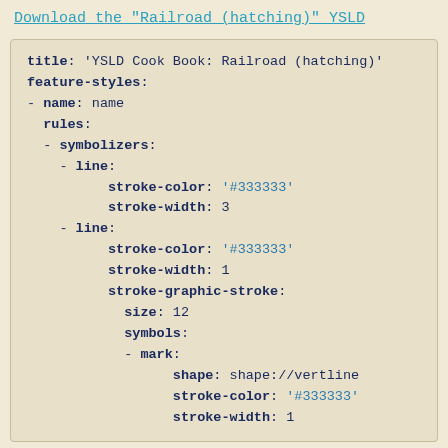Download the "Railroad (hatching)" YSLD
title: 'YSLD Cook Book: Railroad (hatching)'
feature-styles:
- name: name
  rules:
  - symbolizers:
    - line:
          stroke-color: '#333333'
          stroke-width: 3
    - line:
          stroke-color: '#333333'
          stroke-width: 1
          stroke-graphic-stroke:
            size: 12
            symbols:
            - mark:
                  shape: shape://vertline
                  stroke-color: '#333333'
                  stroke-width: 1